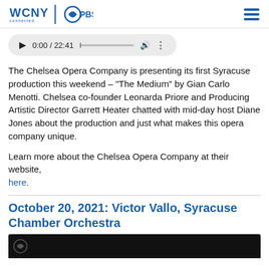WCNY connected. PBS
[Figure (screenshot): Audio player bar showing play button, time 0:00 / 22:41, progress bar, volume icon, and options dots]
The Chelsea Opera Company is presenting its first Syracuse production this weekend – “The Medium” by Gian Carlo Menotti. Chelsea co-founder Leonarda Priore and Producing Artistic Director Garrett Heater chatted with mid-day host Diane Jones about the production and just what makes this opera company unique.
Learn more about the Chelsea Opera Company at their website, here.
October 20, 2021: Victor Vallo, Syracuse Chamber Orchestra
[Figure (screenshot): Bottom portion of a dark/black video thumbnail image]